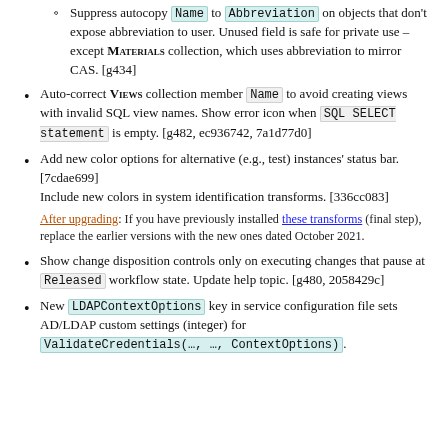[g434] (continuation) Suppress autocopy Name to Abbreviation on objects that don't expose abbreviation to user. Unused field is safe for private use – except MATERIALS collection, which uses abbreviation to mirror CAS. [g434]
Auto-correct Views collection member Name to avoid creating views with invalid SQL view names. Show error icon when SQL SELECT statement is empty. [g482, ec936742, 7a1d77d0]
Add new color options for alternative (e.g., test) instances' status bar. [7cdae699]
Include new colors in system identification transforms. [336cc083]
After upgrading: If you have previously installed these transforms (final step), replace the earlier versions with the new ones dated October 2021.
Show change disposition controls only on executing changes that pause at Released workflow state. Update help topic. [g480, 2058429c]
New LDAPContextOptions key in service configuration file sets AD/LDAP custom settings (integer) for ValidateCredentials(…, …, ContextOptions).